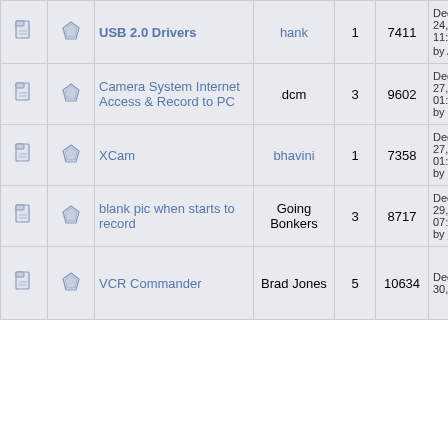|  |  | Topic | Author | Replies | Views | Last Post |
| --- | --- | --- | --- | --- | --- | --- |
| [icon] | [icon] | USB 2.0 Drivers | hank | 1 | 7411 | December 24, 2004, 11:30:32 PM by AccessX10 |
| [icon] | [icon] | Camera System Internet Access & Record to PC | dcm | 3 | 9602 | December 27, 2004, 01:35:35 PM by CT |
| [icon] | [icon] | XCam | bhavini | 1 | 7358 | December 27, 2004, 01:38:02 PM by CT |
| [icon] | [icon] | blank pic when starts to record | Going Bonkers | 3 | 8717 | December 29, 2004, 07:55:28 AM by Brian H |
| [icon] | [icon] | VCR Commander | Brad Jones | 5 | 10634 | December 30, 2004, |